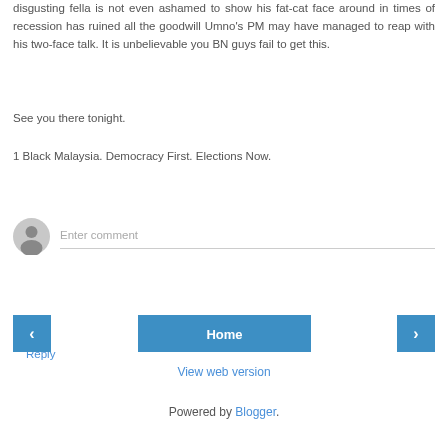disgusting fella is not even ashamed to show his fat-cat face around in times of recession has ruined all the goodwill Umno's PM may have managed to reap with his two-face talk. It is unbelievable you BN guys fail to get this.
See you there tonight.
1 Black Malaysia. Democracy First. Elections Now.
Reply
[Figure (other): Comment input area with avatar icon and text field placeholder 'Enter comment']
[Figure (other): Navigation buttons: left arrow, Home, right arrow]
View web version
Powered by Blogger.